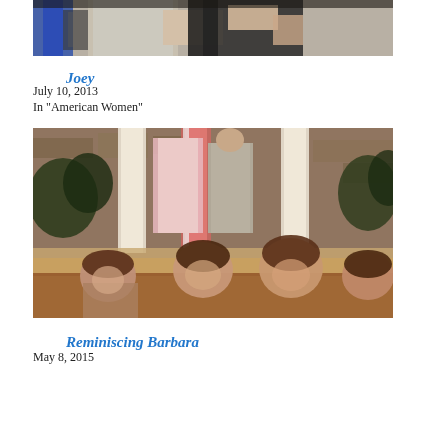[Figure (photo): Partial top view of people at a formal or social event, cropped image showing upper bodies]
Joey
July 10, 2013
In "American Women"
[Figure (photo): Vintage family photo showing adults standing near columns or pillars in background, with children in foreground]
Reminiscing Barbara
May 8, 2015